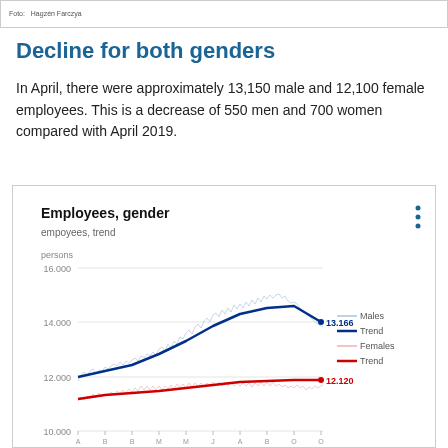Foto: Hagzén Farczya
Decline for both genders
In April, there were approximately 13,150 male and 12,100 female employees. This is a decrease of 550 men and 700 women compared with April 2019.
[Figure (line-chart): Employees, gender]